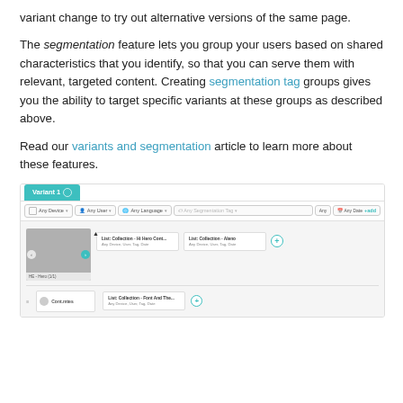variant change to try out alternative versions of the same page.
The segmentation feature lets you group your users based on shared characteristics that you identify, so that you can serve them with relevant, targeted content. Creating segmentation tag groups gives you the ability to target specific variants at these groups as described above.
Read our variants and segmentation article to learn more about these features.
[Figure (screenshot): Screenshot of a CMS variant/segmentation UI showing a tab labeled 'Variant 1', filter bar with Any Device, Any User, Any Language, Any Segmentation Tag, Any Date dropdowns, and a canvas area with a hero image block connected to List Collection boxes labeled 'List: Collection - Hi Hero Cont...' and 'List: Collection - Aleno', plus a bottom row with 'Cont.mtes' block connected to 'List: Collection - Font And The...' box with a plus button.]